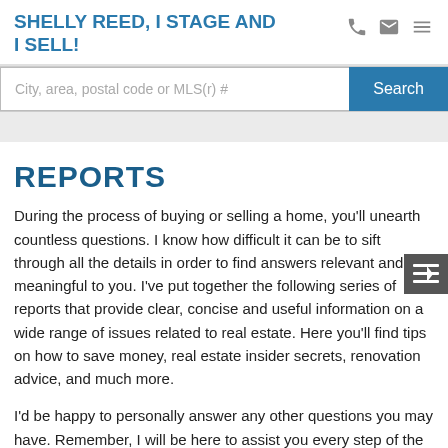SHELLY REED, I STAGE AND I SELL!
City, area, postal code or MLS(r) #
REPORTS
During the process of buying or selling a home, you'll unearth countless questions. I know how difficult it can be to sift through all the details in order to find answers relevant and meaningful to you. I've put together the following series of reports that provide clear, concise and useful information on a wide range of issues related to real estate. Here you'll find tips on how to save money, real estate insider secrets, renovation advice, and much more.
I'd be happy to personally answer any other questions you may have. Remember, I will be here to assist you every step of the way! Contact Shelly direct 250-212-7444 for your no